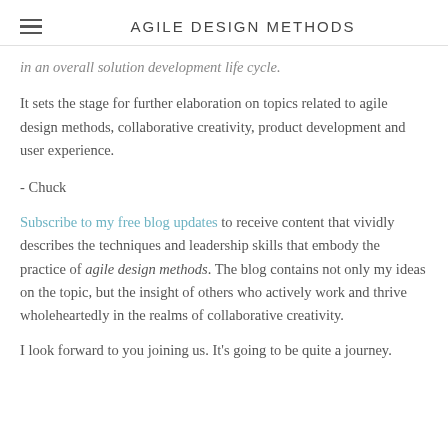AGILE DESIGN METHODS
in an overall solution development life cycle.
It sets the stage for further elaboration on topics related to agile design methods, collaborative creativity, product development and user experience.
- Chuck
Subscribe to my free blog updates to receive content that vividly describes the techniques and leadership skills that embody the practice of agile design methods. The blog contains not only my ideas on the topic, but the insight of others who actively work and thrive wholeheartedly in the realms of collaborative creativity.
I look forward to you joining us. It's going to be quite a journey.